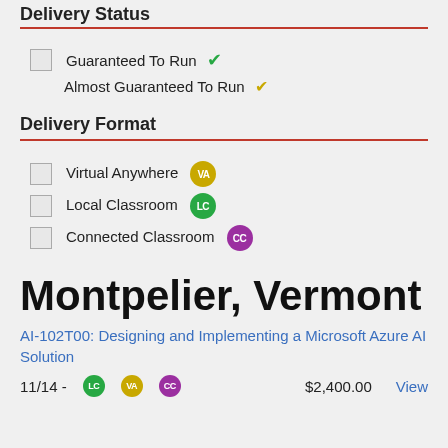Delivery Status
Guaranteed To Run ✓
Almost Guaranteed To Run ✓
Delivery Format
Virtual Anywhere VA
Local Classroom LC
Connected Classroom CC
Montpelier, Vermont
AI-102T00: Designing and Implementing a Microsoft Azure AI Solution
11/14 -    $2,400.00    View